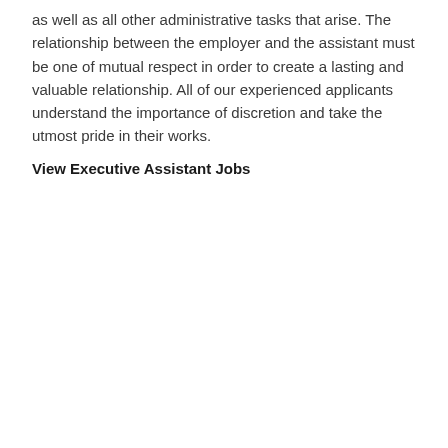as well as all other administrative tasks that arise. The relationship between the employer and the assistant must be one of mutual respect in order to create a lasting and valuable relationship. All of our experienced applicants understand the importance of discretion and take the utmost pride in their works.
View Executive Assistant Jobs